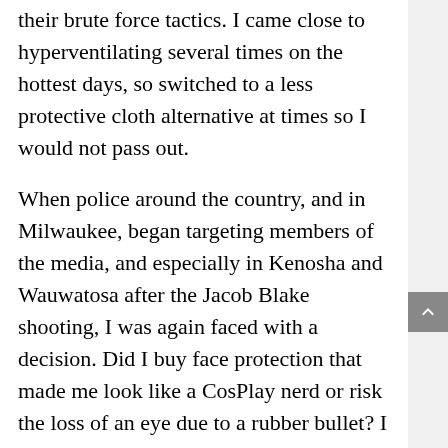their brute force tactics. I came close to hyperventilating several times on the hottest days, so switched to a less protective cloth alternative at times so I would not pass out.
When police around the country, and in Milwaukee, began targeting members of the media, and especially in Kenosha and Wauwatosa after the Jacob Blake shooting, I was again faced with a decision. Did I buy face protection that made me look like a CosPlay nerd or risk the loss of an eye due to a rubber bullet? I really like my eyes, as most people do, so I invested in some ballistic-proof face gear. My hope remains that I never have to use any of it, but at least I have something measure of protection against the full impact of non-lethal armament during a pandemic.
A full biohazard or gas mask seemed more practical, but I felt their “Contagion” movie-like appearance would